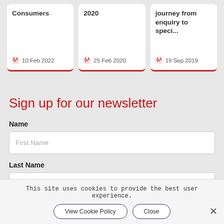Consumers | 10 Feb 2022
2020 | 25 Feb 2020
journey from enquiry to speci... | 19 Sep 2019
Sign up for our newsletter
Name
First Name
Last Name
Last Name
This site uses cookies to provide the best user experience.
View Cookie Policy
Close